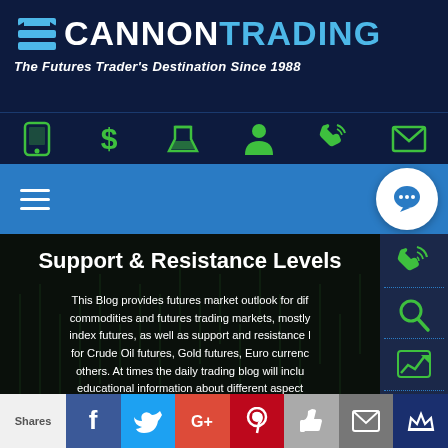[Figure (logo): Cannon Trading logo with arrow icon, white CANNON and blue TRADING text, tagline 'The Futures Trader's Destination Since 1988']
[Figure (infographic): Icon navigation bar with green icons: mobile phone, dollar sign, flask/lab, person, phone, envelope]
[Figure (infographic): Blue navigation bar with hamburger menu icon on left and white chat bubble circle on right]
Support & Resistance Levels
This Blog provides futures market outlook for different commodities and futures trading markets, mostly index futures, as well as support and resistance levels for Crude Oil futures, Gold futures, Euro currency and others. At times the daily trading blog will include educational information about different aspects of commodity and futures trading.
[Figure (infographic): Right sidebar with green icons: phone with signal, magnifying glass, chart with arrow, thumbs up]
[Figure (infographic): Bottom social share bar with Shares label, Facebook, Twitter, Google+, Pinterest, Like, Mail, and crown icons]